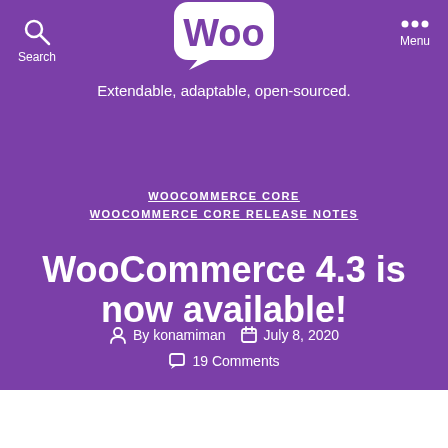[Figure (logo): WooCommerce Woo logo in white on purple background]
Extendable, adaptable, open-sourced.
WOOCOMMERCE CORE
WOOCOMMERCE CORE RELEASE NOTES
WooCommerce 4.3 is now available!
By konamiman   July 8, 2020
19 Comments